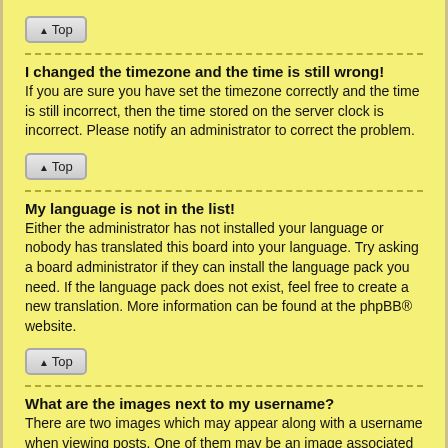[Figure (other): Top navigation button with upward arrow and text 'Top']
I changed the timezone and the time is still wrong!
If you are sure you have set the timezone correctly and the time is still incorrect, then the time stored on the server clock is incorrect. Please notify an administrator to correct the problem.
[Figure (other): Top navigation button with upward arrow and text 'Top']
My language is not in the list!
Either the administrator has not installed your language or nobody has translated this board into your language. Try asking a board administrator if they can install the language pack you need. If the language pack does not exist, feel free to create a new translation. More information can be found at the phpBB® website.
[Figure (other): Top navigation button with upward arrow and text 'Top']
What are the images next to my username?
There are two images which may appear along with a username when viewing posts. One of them may be an image associated with your rank, generally in the form of stars, blocks or dots,